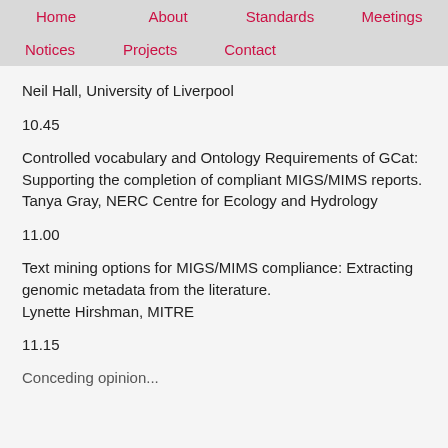Home | About | Standards | Meetings | Notices | Projects | Contact
Neil Hall, University of Liverpool
10.45
Controlled vocabulary and Ontology Requirements of GCat: Supporting the completion of compliant MIGS/MIMS reports.
Tanya Gray, NERC Centre for Ecology and Hydrology
11.00
Text mining options for MIGS/MIMS compliance: Extracting genomic metadata from the literature.
Lynette Hirshman, MITRE
11.15
Conceding opinion...